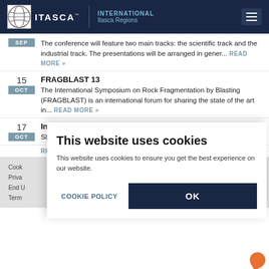ITASCA | INTERNATIONAL Itasca Regions
The conference will feature two main tracks: the scientific track and the industrial track. The presentations will be arranged in gener... READ MORE »
15 OCT — FRAGBLAST 13
The International Symposium on Rock Fragmentation by Blasting (FRAGBLAST) is an international forum for sharing the state of the art in... READ MORE »
17 OCT — International Slope Stability 2022 Symposium
Slope Stability 2022 is being held in Tucson, Arizona.
READ
Cookie
Priva
End U
Term
This website uses cookies
This website uses cookies to ensure you get the best experience on our website.
COOKIE POLICY   OK